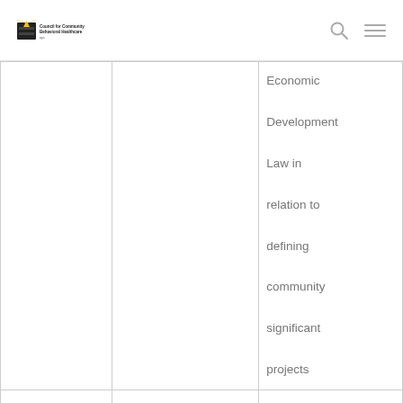Council for Community Behavioral Healthcare
|  |  | Economic Development Law in relation to defining community significant projects |
| PART SS |  | Authorizes Commissioner of T&F to waive requirement related to assigning... |